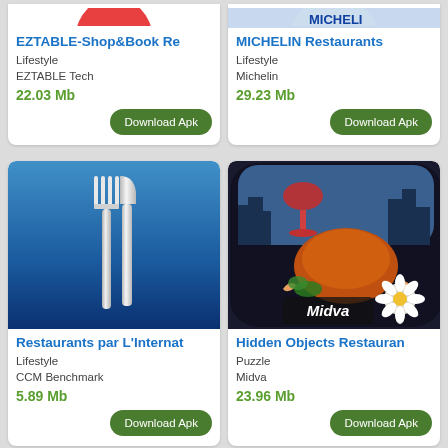[Figure (screenshot): EZTABLE app icon - partial red circular logo on white card, cropped at top]
EZTABLE-Shop&Book Re
Lifestyle
EZTABLE Tech
22.03 Mb
[Figure (screenshot): MICHELIN Restaurants app icon - partial logo on white card, cropped at top]
MICHELIN Restaurants
Lifestyle
Michelin
29.23 Mb
[Figure (screenshot): Restaurants par L'Intern... app - blue background with silver fork and knife cutlery]
Restaurants par L'Internat
Lifestyle
CCM Benchmark
5.89 Mb
[Figure (screenshot): Hidden Objects Restaurant app icon - roast chicken/turkey with wine glass, city skyline, daisy flower, Midva logo]
Hidden Objects Restauran
Puzzle
Midva
23.96 Mb